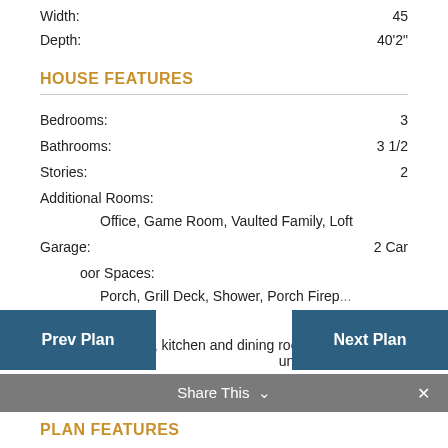Width: 45
Depth: 40'2"
HOUSE FEATURES
Bedrooms: 3
Bathrooms: 3 1/2
Stories: 2
Additional Rooms:
Office, Game Room, Vaulted Family, Loft
Garage: 2 Car
Outdoor Spaces:
Porch, Grill Deck, Shower, Porch Firep...
Other:
Open family, kitchen and dining room, open loft, unfinished basement
Prev Plan | Share This | Next Plan
PLAN FEATURES